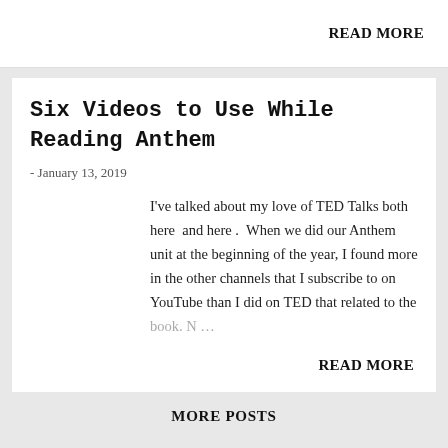READ MORE
Six Videos to Use While Reading Anthem
- January 13, 2019
I've talked about my love of TED Talks both here and here. When we did our Anthem unit at the beginning of the year, I found more in the other channels that I subscribe to on YouTube than I did on TED that related to the book. N …
READ MORE
MORE POSTS